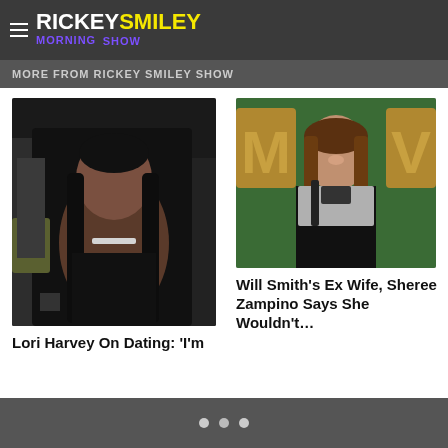RICKEY SMILEY MORNING SHOW
MORE FROM RICKEY SMILEY SHOW
[Figure (photo): Photo of Lori Harvey in a black outfit with a diamond necklace at a party]
Lori Harvey On Dating: ‘I’m
[Figure (photo): Photo of Sheree Zampino in a sparkly black and silver dress at an event with MOV letters in the background]
Will Smith’s Ex Wife, Sheree Zampino Says She Wouldn’t…
Pagination dots